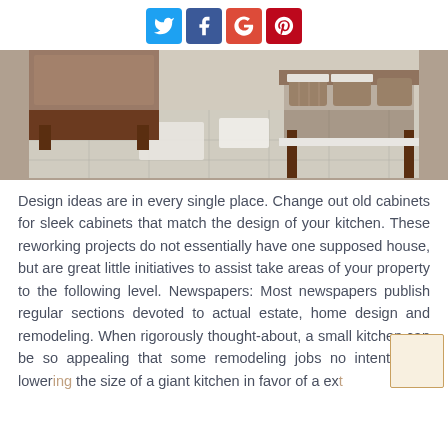[Figure (infographic): Social media share buttons: Twitter (blue), Facebook (dark blue), Google+ (red), Pinterest (red)]
[Figure (photo): Bathroom interior with dark wood furniture, wicker baskets, white towels, and tiled floor with bath mats]
Design ideas are in every single place. Change out old cabinets for sleek cabinets that match the design of your kitchen. These reworking projects do not essentially have one supposed house, but are great little initiatives to assist take areas of your property to the following level. Newspapers: Most newspapers publish regular sections devoted to actual estate, home design and remodeling. When rigorously thought-about, a small kitchen can be so appealing that some remodeling jobs no intention at lowering the size of a giant kitchen in favor of a extra...